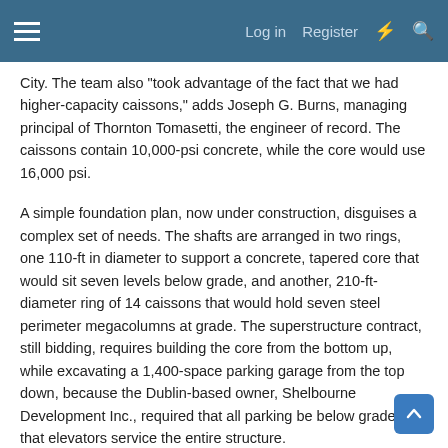Log in  Register
City. The team also "took advantage of the fact that we had higher-capacity caissons," adds Joseph G. Burns, managing principal of Thornton Tomasetti, the engineer of record. The caissons contain 10,000-psi concrete, while the core would use 16,000 psi.
A simple foundation plan, now under construction, disguises a complex set of needs. The shafts are arranged in two rings, one 110-ft in diameter to support a concrete, tapered core that would sit seven levels below grade, and another, 210-ft-diameter ring of 14 caissons that would hold seven steel perimeter megacolumns at grade. The superstructure contract, still bidding, requires building the core from the bottom up, while excavating a 1,400-space parking garage from the top down, because the Dublin-based owner, Shelbourne Development Inc., required that all parking be below grade, and that elevators service the entire structure.
Though “up-down” construction is not brand new to Chicago, this next for the Irish Land Group has done like thing in